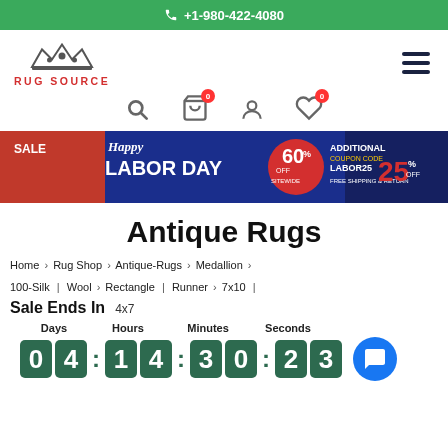+1-980-422-4080
[Figure (logo): Rug Source logo with crown icon and red text]
[Figure (infographic): Happy Labor Day Sale banner: 60% off sitewide, additional 25% off with coupon code LABOR25, free shipping and return]
Antique Rugs
Home > Rug Shop > Antique-Rugs > Medallion > 100-Silk | Wool > Rectangle | Runner > 7x10 | 4x7
Sale Ends In  4x7
Days  Hours  Minutes  Seconds
04 : 14 : 30 : 23